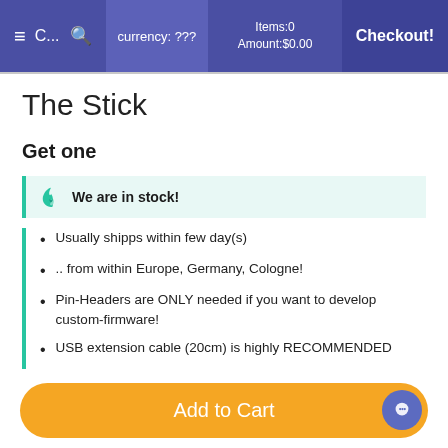≡  C...  🔍  currency: ???  Items:0 Amount:$0.00  Checkout!
The Stick
Get one
We are in stock!
Usually shipps within few day(s)
.. from within Europe, Germany, Cologne!
Pin-Headers are ONLY needed if you want to develop custom-firmware!
USB extension cable (20cm) is highly RECOMMENDED
Add to Cart